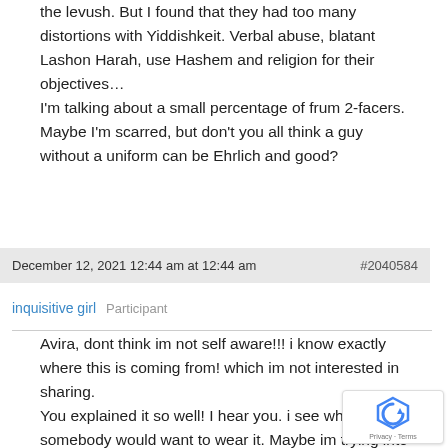the levush. But I found that they had too many distortions with Yiddishkeit. Verbal abuse, blatant Lashon Harah, use Hashem and religion for their objectives… I'm talking about a small percentage of frum 2-facers. Maybe I'm scarred, but don't you all think a guy without a uniform can be Ehrlich and good?
December 12, 2021 12:44 am at 12:44 am    #2040584
inquisitive girl   Participant
Avira, dont think im not self aware!!! i know exactly where this is coming from! which im not interested in sharing. You explained it so well! I hear you. i see why somebody would want to wear it. Maybe im trying into the non jewish society? Ill be honest.